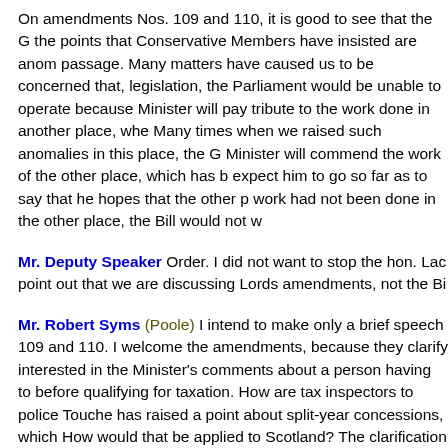On amendments Nos. 109 and 110, it is good to see that the G the points that Conservative Members have insisted are anom passage. Many matters have caused us to be concerned that, legislation, the Parliament would be unable to operate because Minister will pay tribute to the work done in another place, whe Many times when we raised such anomalies in this place, the Minister will commend the work of the other place, which has b expect him to go so far as to say that he hopes that the other p work had not been done in the other place, the Bill would not w
Mr. Deputy Speaker Order. I did not want to stop the hon. Lac point out that we are discussing Lords amendments, not the Bi
Mr. Robert Syms (Poole) I intend to make only a brief speech 109 and 110. I welcome the amendments, because they clarify interested in the Minister's comments about a person having to before qualifying for taxation. How are tax inspectors to police Touche has raised a point about split-year concessions, which How would that be applied to Scotland? The clarification provid welcome because the Bill contained major problems.